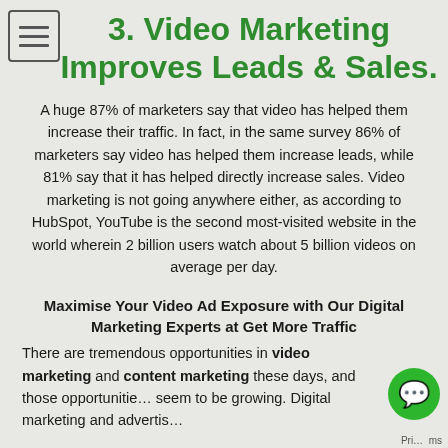3. Video Marketing Improves Leads & Sales.
A huge 87% of marketers say that video has helped them increase their traffic. In fact, in the same survey 86% of marketers say video has helped them increase leads, while 81% say that it has helped directly increase sales. Video marketing is not going anywhere either, as according to HubSpot, YouTube is the second most-visited website in the world wherein 2 billion users watch about 5 billion videos on average per day.
Maximise Your Video Ad Exposure with Our Digital Marketing Experts at Get More Traffic
There are tremendous opportunities in video marketing and content marketing these days, and those opportunities seem to be growing. Digital marketing and advertis...